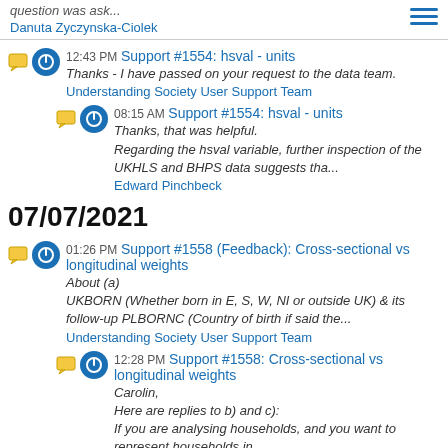question was ask...
Danuta Zyczynska-Ciolek
12:43 PM Support #1554: hsval - units
Thanks - I have passed on your request to the data team.
Understanding Society User Support Team
08:15 AM Support #1554: hsval - units
Thanks, that was helpful.
Regarding the hsval variable, further inspection of the UKHLS and BHPS data suggests tha...
Edward Pinchbeck
07/07/2021
01:26 PM Support #1558 (Feedback): Cross-sectional vs longitudinal weights
About (a)
UKBORN (Whether born in E, S, W, NI or outside UK) & its follow-up PLBORNC (Country of birth if said the...
Understanding Society User Support Team
12:28 PM Support #1558: Cross-sectional vs longitudinal weights
Carolin,
Here are replies to b) and c):
If you are analysing households, and you want to represent households in ...
Olena Kaminska
07/06/2021